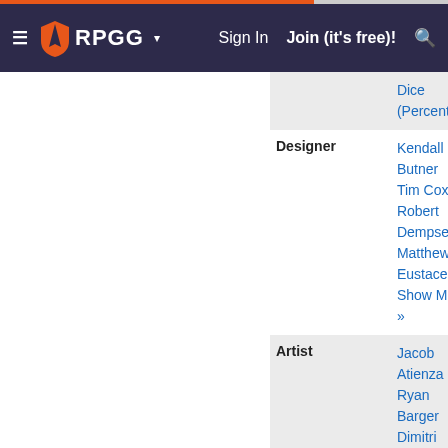RPGG — Sign In  Join (it's free)!
| Label | Value |
| --- | --- |
|  | Dice (Percentile) |
| Designer | Kendall Butner
Tim Cox
Robert Dempsey
Matthew Eustace
Show More » |
| Artist | Jacob Atienza
Ryan Barger
Dimitri Bielak
Matt Bradbury
Show More » |
| Production Staff | Max Brooke
Andrew Christensen
Christopher Gerber
Tim Huckelbery
Show More » |
| Publisher | Fantasy Flight Games |